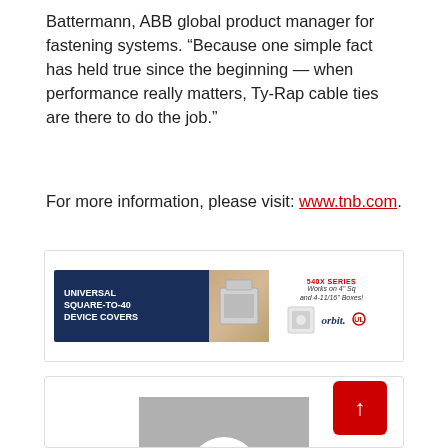Battermann, ABB global product manager for fastening systems. “Because one simple fact has held true since the beginning — when performance really matters, Ty-Rap cable ties are there to do the job.”
For more information, please visit: www.tnb.com.
[Figure (other): Advertisement banner for Orbit Industries 540X Series Universal Square-to-40 Device Covers. Works on 4" Sq and 4-11/16" Boxes. Shows product image with blue background on the left and the Orbit logo on the right.]
[Figure (other): Placeholder image area showing a gray rectangle with a white circle in the center, representing a profile image or article thumbnail. A red back-to-top button with an upward arrow is visible in the bottom right corner.]